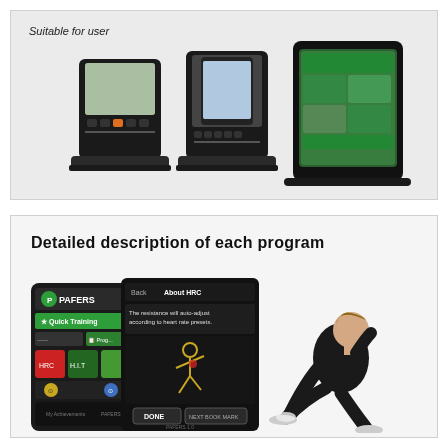Suitable for user
[Figure (photo): Three fitness equipment console/display devices shown side by side on a light gray background, increasing in size from left to right, with the rightmost being a tablet-style touchscreen device]
Detailed description of each program
[Figure (photo): Left side shows two overlapping smartphone/tablet screenshots of the PAFERS fitness app featuring Quick Training, HRC program menus and an About HRC screen showing a running figure graphic with text 'The resistance will auto-adjust according to heart rate presets' and a DONE button. Right side shows a female athlete in black athletic wear in a running start position on a white background.]